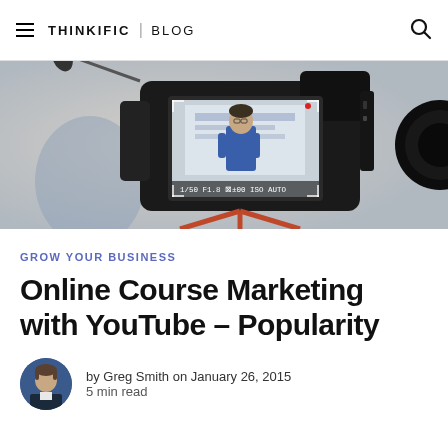THINKIFIC | BLOG
[Figure (photo): A camera viewfinder showing a man in a blue shirt standing in front of what appears to be a whiteboard. The camera is on a tripod with camera settings visible (1/50, F1.8, ISO AUTO). Background is blurred.]
GROW YOUR BUSINESS
Online Course Marketing with YouTube – Popularity
by Greg Smith on January 26, 2015
5 min read